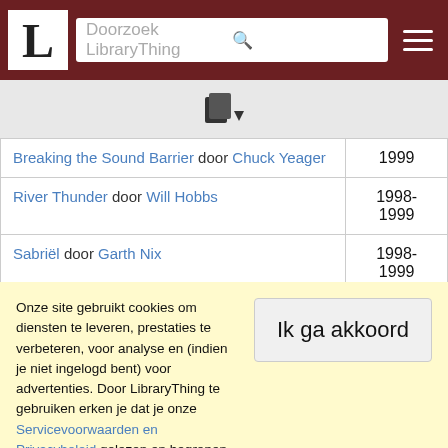Doorzoek LibraryThing
| Boek | Jaar |
| --- | --- |
| Breaking the Sound Barrier door Chuck Yeager | 1999 |
| River Thunder door Will Hobbs | 1998-
1999 |
| Sabriël door Garth Nix | 1998-
1999 |
| Shy Boy: The Horse That Came in from the Wild door Monty Roberts | 1999 |
|  | 1998- |
Onze site gebruikt cookies om diensten te leveren, prestaties te verbeteren, voor analyse en (indien je niet ingelogd bent) voor advertenties. Door LibraryThing te gebruiken erken je dat je onze Servicevoorwaarden en Privacybeleid gelezen en begrepen hebt. Je gebruik van de site en diensten is onderhevig aan dit beleid en deze voorwaarden.